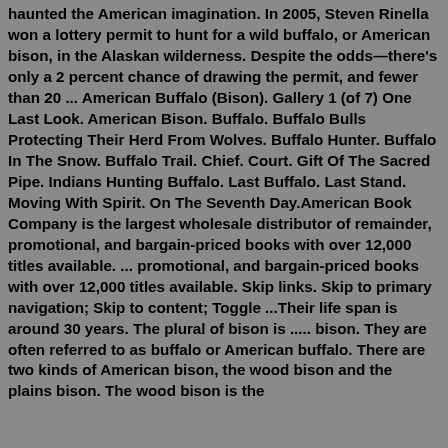haunted the American imagination. In 2005, Steven Rinella won a lottery permit to hunt for a wild buffalo, or American bison, in the Alaskan wilderness. Despite the odds—there's only a 2 percent chance of drawing the permit, and fewer than 20 ... American Buffalo (Bison). Gallery 1 (of 7) One Last Look. American Bison. Buffalo. Buffalo Bulls Protecting Their Herd From Wolves. Buffalo Hunter. Buffalo In The Snow. Buffalo Trail. Chief. Court. Gift Of The Sacred Pipe. Indians Hunting Buffalo. Last Buffalo. Last Stand. Moving With Spirit. On The Seventh Day.American Book Company is the largest wholesale distributor of remainder, promotional, and bargain-priced books with over 12,000 titles available. ... promotional, and bargain-priced books with over 12,000 titles available. Skip links. Skip to primary navigation; Skip to content; Toggle ...Their life span is around 30 years. The plural of bison is ..... bison. They are often referred to as buffalo or American buffalo. There are two kinds of American bison, the wood bison and the plains bison. The wood bison is the